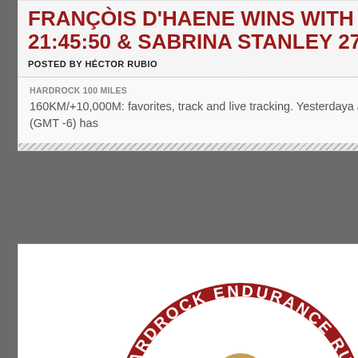FRANCOIS D'HAENE WINS WITH RECORD 21:45:50 & SABRINA STANLEY 27:21:49
POSTED BY HÉCTOR RUBIO
HARDROCK 100 MILES
160KM/+10,000M: favorites, track and live tracking. Yesterdaya at 2PM (CET) 6AM (GMT -6) has
[Figure (logo): Hardrock Endurance Run 100 Mile Wild & Tough circular logo with ram head illustration, dark red and green color scheme. Date badge showing JULY 14 in top right corner.]
HARDROCK 100 MILES